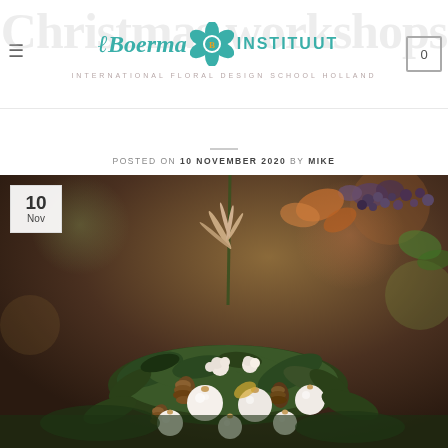Boerma Instituut — International Floral Design School Holland
Christmas workshops at Boerma!
POSTED ON 10 NOVEMBER 2020 BY MIKE
[Figure (photo): Christmas floral arrangement with pine cones, white ornament balls, greenery, and dried flowers with autumn foliage in background. Date badge showing '10 Nov' in upper left corner.]